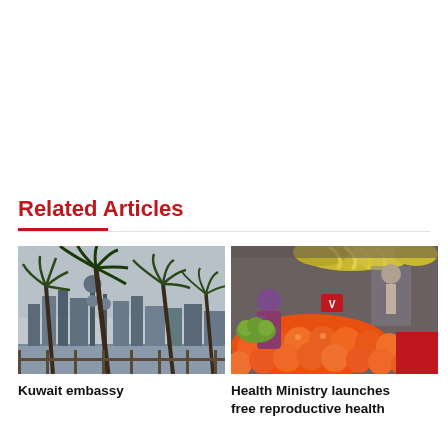Related Articles
[Figure (photo): Photograph of palm trees blowing in wind with Kuwait City skyline and tower in background]
Kuwait embassy
[Figure (photo): Photograph of an outdoor fruit market with oranges, bananas, and other fruits on display; a woman in a hijab is shopping]
Health Ministry launches free reproductive health